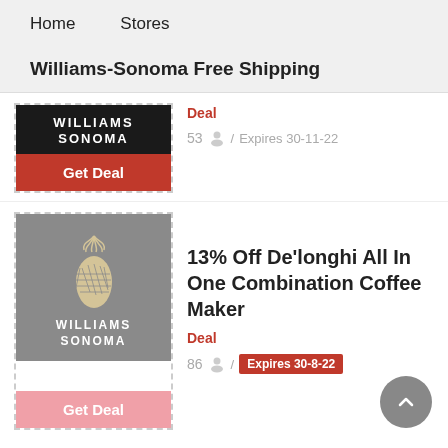Home    Stores
Williams-Sonoma Free Shipping
[Figure (logo): Williams-Sonoma dark logo with Get Deal button]
Deal
53 / Expires 30-11-22
[Figure (logo): Williams-Sonoma gray pineapple logo with Get Deal button]
13% Off De'longhi All In One Combination Coffee Maker
Deal
86 / Expires 30-8-22